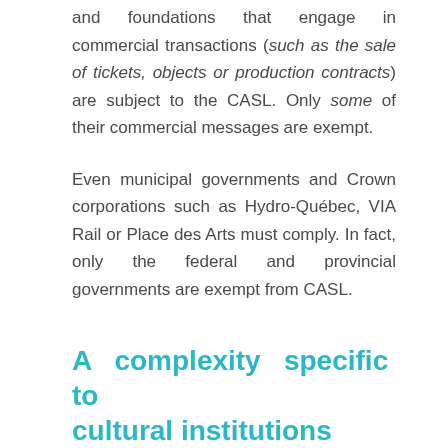and foundations that engage in commercial transactions (such as the sale of tickets, objects or production contracts) are subject to the CASL. Only some of their commercial messages are exempt.
Even municipal governments and Crown corporations such as Hydro-Québec, VIA Rail or Place des Arts must comply. In fact, only the federal and provincial governments are exempt from CASL.
A complexity specific to cultural institutions